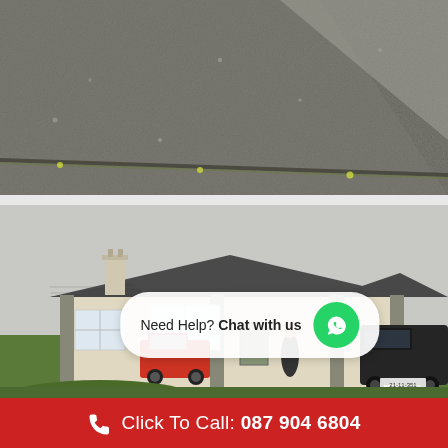[Figure (photo): Close-up of a slate/concrete roof surface showing texture and a ridge with green moss/lichen along the edge]
[Figure (photo): Exterior view of a single-storey bungalow with a newly laid dark grey tiled hip roof, white rendered walls, a chimney, a red work truck, a man standing by the front door, and a dark van in the driveway. A WhatsApp 'Need Help? Chat with us' popup is overlaid on the image.]
Need Help? Chat with us
Click To Call: 087 904 6804